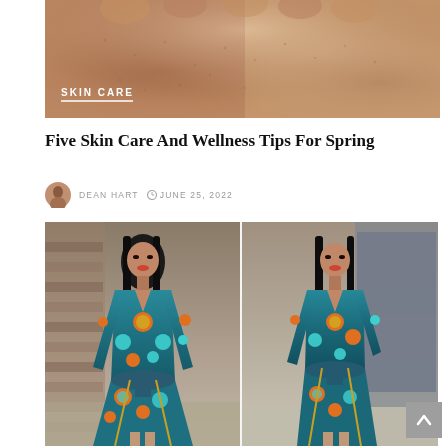[Figure (photo): Close-up photo of human skin texture with warm tones, showing pores. White text label 'SKIN CARE' overlaid on lower-left with white underline.]
Five Skin Care And Wellness Tips For Spring
DEAN HART  JUNE 25, 2022
[Figure (photo): Two side-by-side photos of a young woman wearing a teal/blue African print dress with orange, yellow, and teal circular patterns, long sleeves, and a tied waist sash. Left photo shows full frontal view; right photo shows a slightly turned pose.]